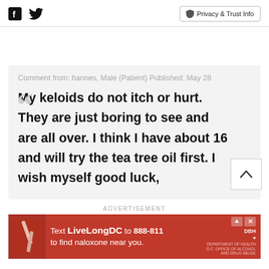Facebook | Twitter | Privacy & Trust Info
Comment from: hannes, Male (Patient) Published: May 28
My keloids do not itch or hurt. They are just boring to see and are all over. I think I have about 16 and will try the tea tree oil first. I wish myself good luck,
ADVERTISEMENT
[Figure (photo): Red advertisement banner: Text LiveLongDC to 888-811 to find naloxone near you. DBH logo.]